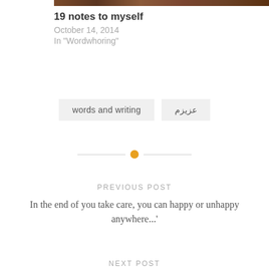[Figure (photo): Partial image strip at top of page showing warm brown tones]
19 notes to myself
October 14, 2014
In "Wordwhoring"
words and writing
عزيزم
PREVIOUS POST
In the end of you take care, you can happy or unhappy anywhere...'
NEXT POST